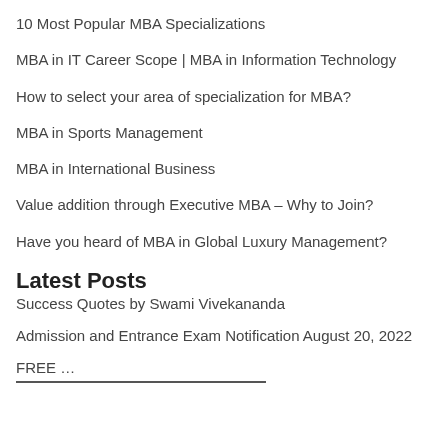10 Most Popular MBA Specializations
MBA in IT Career Scope | MBA in Information Technology
How to select your area of specialization for MBA?
MBA in Sports Management
MBA in International Business
Value addition through Executive MBA – Why to Join?
Have you heard of MBA in Global Luxury Management?
Latest Posts
Success Quotes by Swami Vivekananda
Admission and Entrance Exam Notification August 20, 2022
FREE ...